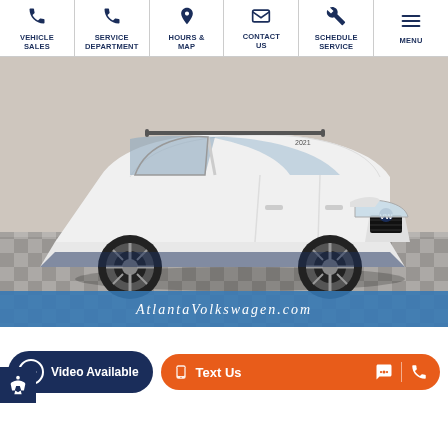[Figure (other): Navigation bar with 6 icons: Vehicle Sales (phone), Service Department (phone), Hours & Map (location pin), Contact Us (envelope), Schedule Service (wrench), Menu (hamburger menu)]
[Figure (photo): White Volkswagen Tiguan SUV photographed in a dealership showroom with black-and-white checkered floor. The car faces right. Blue banner at bottom reads AtlantaVolkswagen.com]
[Figure (other): Bottom action bar with dark blue 'Video Available' button and orange 'Text Us' button with chat and phone icons. Accessibility icon in bottom left corner.]